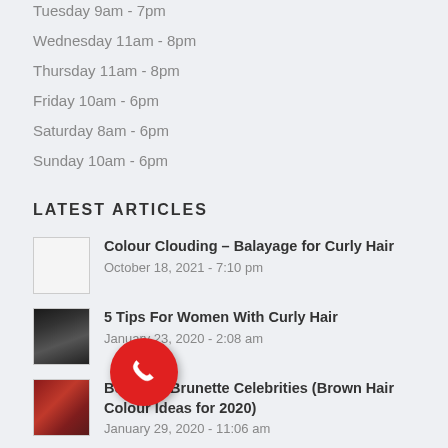Tuesday 9am - 7pm
Wednesday 11am - 8pm
Thursday 11am - 8pm
Friday 10am - 6pm
Saturday 8am - 6pm
Sunday 10am - 6pm
LATEST ARTICLES
Colour Clouding – Balayage for Curly Hair
October 18, 2021 - 7:10 pm
5 Tips For Women With Curly Hair
January 23, 2020 - 2:08 am
Beautiful Brunette Celebrities (Brown Hair Colour Ideas for 2020)
January 29, 2020 - 11:06 am